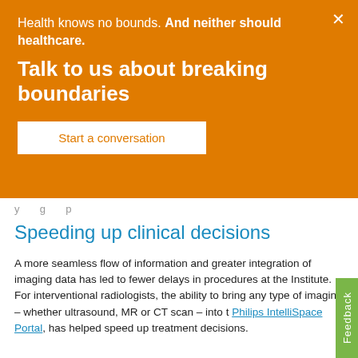Health knows no bounds. And neither should healthcare.
Talk to us about breaking boundaries
Start a conversation
y g p
Speeding up clinical decisions
A more seamless flow of information and greater integration of imaging data has led to fewer delays in procedures at the Institute. For interventional radiologists, the ability to bring any type of imaging – whether ultrasound, MR or CT scan – into the Philips IntelliSpace Portal, has helped speed up treatment decisions.